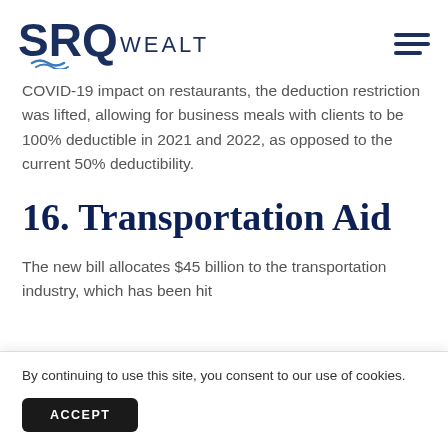SRQ WEALTH
COVID-19 impact on restaurants, the deduction restriction was lifted, allowing for business meals with clients to be 100% deductible in 2021 and 2022, as opposed to the current 50% deductibility.
16. Transportation Aid
The new bill allocates $45 billion to the transportation industry, which has been hit
By continuing to use this site, you consent to our use of cookies.